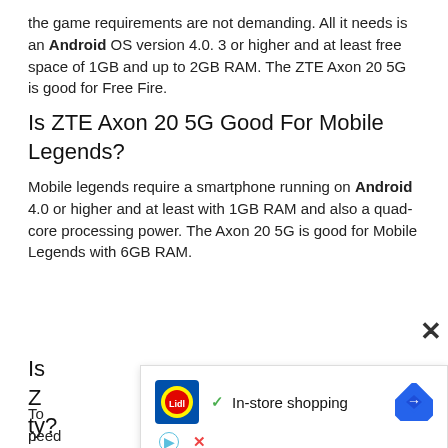the game requirements are not demanding. All it needs is an Android OS version 4.0. 3 or higher and at least free space of 1GB and up to 2GB RAM. The ZTE Axon 20 5G is good for Free Fire.
Is ZTE Axon 20 5G Good For Mobile Legends?
Mobile legends require a smartphone running on Android 4.0 or higher and at least with 1GB RAM and also a quad-core processing power. The Axon 20 5G is good for Mobile Legends with 6GB RAM.
Is Z...ty?
To p... need... and
[Figure (infographic): Advertisement overlay showing Lidl logo, checkmark with 'In-store shopping' text, and a blue navigation/directions icon. Also shows a play button icon and close X below.]